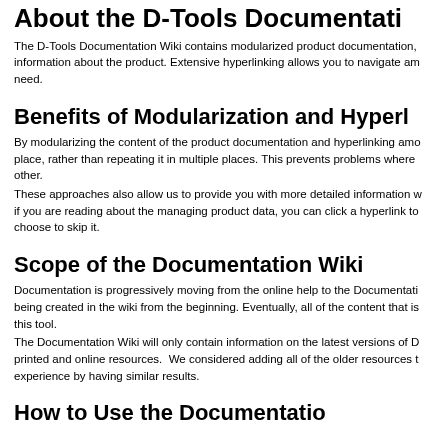About the D-Tools Documentation Wiki
The D-Tools Documentation Wiki contains modularized product documentation, information about the product. Extensive hyperlinking allows you to navigate among need.
Benefits of Modularization and Hyperlinking
By modularizing the content of the product documentation and hyperlinking among place, rather than repeating it in multiple places. This prevents problems where other.
These approaches also allow us to provide you with more detailed information w if you are reading about the managing product data, you can click a hyperlink to choose to skip it.
Scope of the Documentation Wiki
Documentation is progressively moving from the online help to the Documentation being created in the wiki from the beginning. Eventually, all of the content that is this tool.
The Documentation Wiki will only contain information on the latest versions of D printed and online resources. We considered adding all of the older resources t experience by having similar results.
How to Use the Documentation...